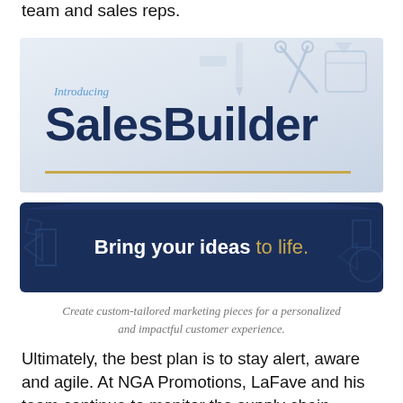team and sales reps.
[Figure (illustration): SalesBuilder product banner with light blue/grey gradient background showing office supplies (scissors, pencils, eraser) in the upper right, italic 'Introducing' label in blue, large bold dark navy 'SalesBuilder' text, and a gold horizontal rule beneath.]
[Figure (infographic): Dark navy blue banner with decorative geometric shapes and the text 'Bring your ideas to life.' in white bold and gold italic.]
Create custom-tailored marketing pieces for a personalized and impactful customer experience.
Ultimately, the best plan is to stay alert, aware and agile. At NGA Promotions, LaFave and his team continue to monitor the supply chain situation. "We